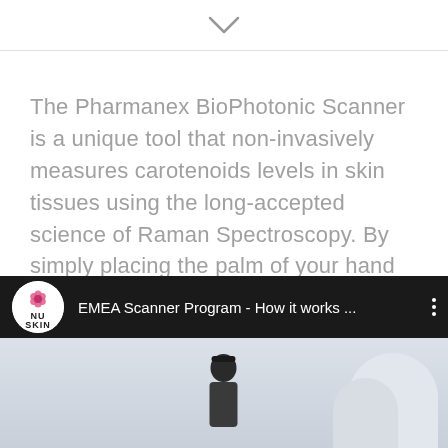[Figure (other): Chevron/down-arrow icon indicating scroll or expand]
The Pharmanex BioPhotonic Scanner is a unique tool that non-invasively measures carotenoids levels in skin tissues using the long-accepted science of Raman Spectroscopy. By simply placing the palm of your hand in front of the Scanner's low-energy blue light, you will obtain your Skin Carotenoid Score (SCS) within seconds.
[Figure (screenshot): YouTube video thumbnail bar showing Nu Skin logo and title 'EMEA Scanner Program - How it works ...' with three-dot menu, followed by video preview showing scanner device and person figure]